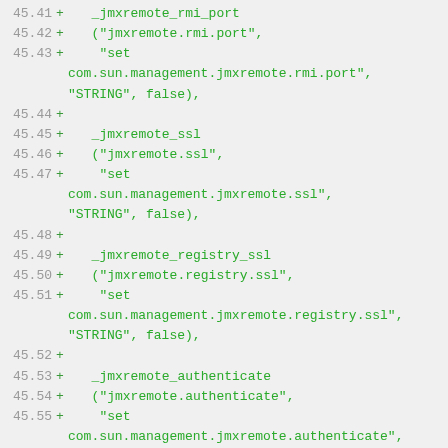[Figure (screenshot): Code diff showing lines 45.41 through 45.59 of a source file, with green '+' markers indicating added lines. The code defines JMX remote configuration parameters including _jmxremote_rmi_port, _jmxremote_ssl, _jmxremote_registry_ssl, _jmxremote_authenticate, and _jmxremote_password_file variables with their associated set commands for com.sun.management properties as STRING type with false value.]